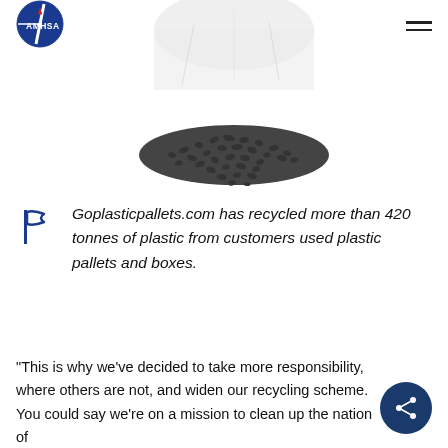[Figure (logo): AMHSA circular logo — dark blue circle with white text AMHSA and a compass/arrow graphic]
[Figure (photo): Black and white photo showing a pile of small dark plastic granules/pellets spilling out of a transparent plastic bag, viewed from above on a white background]
Goplasticpallets.com has recycled more than 420 tonnes of plastic from customers used plastic pallets and boxes.
“This is why we've decided to take more responsibility, where others are not, and widen our recycling scheme. You could say we're on a mission to clean up the nation of